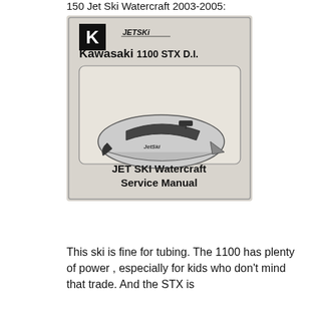150 Jet Ski Watercraft 2003-2005:
[Figure (photo): Cover of Kawasaki Jet Ski 1100 STX D.I. Watercraft Service Manual, showing a photo of the watercraft and the Kawasaki and Jet Ski logos.]
This ski is fine for tubing. The 1100 has plenty of power , especially for kids who don't mind that trade. And the STX is